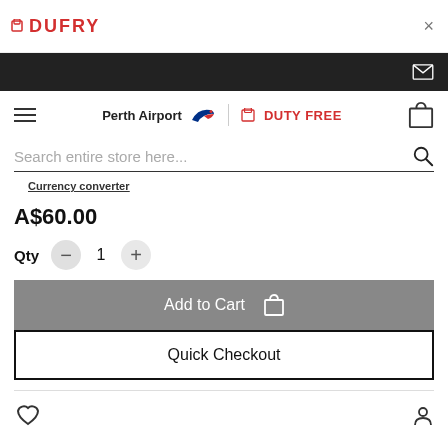[Figure (logo): Dufry logo in red with shopping bag icon, top-left]
×
[Figure (screenshot): Dark banner with envelope/mail icon on right]
[Figure (screenshot): Navigation bar with hamburger menu, Perth Airport Duty Free logo, and shopping cart icon]
Search entire store here...
Currency converter
A$60.00
Qty  1
Add to Cart
Quick Checkout